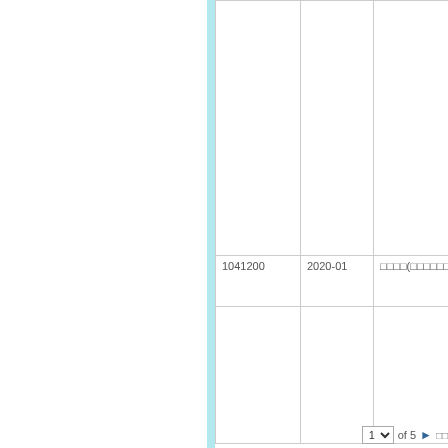|  |  |  |  |
| --- | --- | --- | --- |
|  |  |  |  |
| 1041200 | 2020-01 | □□□□(□□□□□□) | □□ □
□ □□
□□ □ |
|  |  |  |  |
1 ∨ of 5 ▶ □□